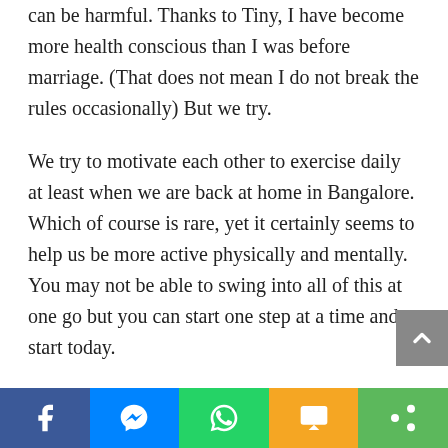can be harmful. Thanks to Tiny, I have become more health conscious than I was before marriage. (That does not mean I do not break the rules occasionally) But we try.
We try to motivate each other to exercise daily at least when we are back at home in Bangalore. Which of course is rare, yet it certainly seems to help us be more active physically and mentally. You may not be able to swing into all of this at one go but you can start one step at a time and start today.
I hope we go on to steward well the body, that is the temple of God, for His glory.
Now your turn, how have you practised resting in God?